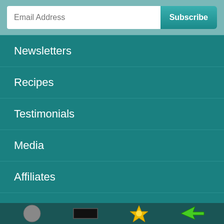Email Address
Newsletters
Recipes
Testimonials
Media
Affiliates
Shipping Info
About Us
[Figure (other): Footer bar with four icons: circular logo, rectangular logo, star/badge icon, green arrow icon]